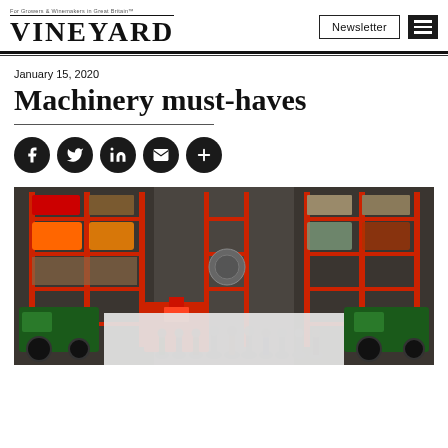VINEYARD — For Growers & Winemakers in Great Britain
January 15, 2020
Machinery must-haves
[Figure (photo): Interior of a large warehouse/machinery showroom with red metal shelving racks stocked with agricultural equipment, machinery parts, and implements. A group of people stand in the foreground among tractors and other machinery.]